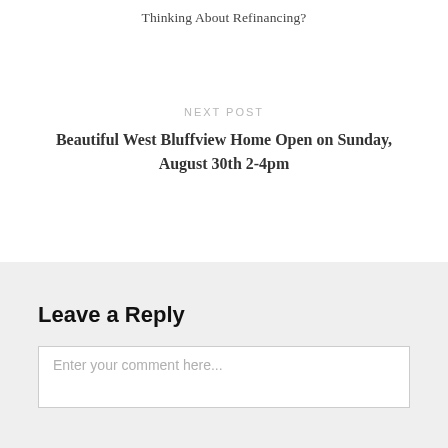Thinking About Refinancing?
NEXT POST
Beautiful West Bluffview Home Open on Sunday, August 30th 2-4pm
Leave a Reply
Enter your comment here...